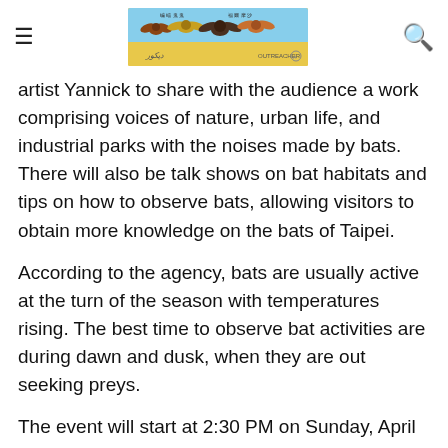[Navigation header with hamburger menu, bat illustration logo, and search icon]
artist Yannick to share with the audience a work comprising voices of nature, urban life, and industrial parks with the noises made by bats. There will also be talk shows on bat habitats and tips on how to observe bats, allowing visitors to obtain more knowledge on the bats of Taipei.
According to the agency, bats are usually active at the turn of the season with temperatures rising. The best time to observe bat activities are during dawn and dusk, when they are out seeking preys.
The event will start at 2:30 PM on Sunday, April 24. APO reminds those interested should sign up online for the event.